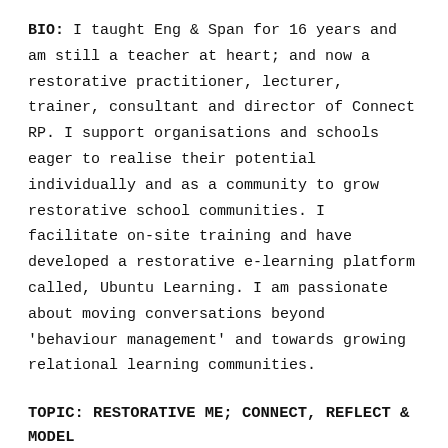BIO: I taught Eng & Span for 16 years and am still a teacher at heart; and now a restorative practitioner, lecturer, trainer, consultant and director of Connect RP. I support organisations and schools eager to realise their potential individually and as a community to grow restorative school communities. I facilitate on-site training and have developed a restorative e-learning platform called, Ubuntu Learning. I am passionate about moving conversations beyond 'behaviour management' and towards growing relational learning communities.
TOPIC: RESTORATIVE ME; CONNECT, REFLECT & MODEL
My presentation will focus on RP from the perspective of the internal landscape, exploring the concept of